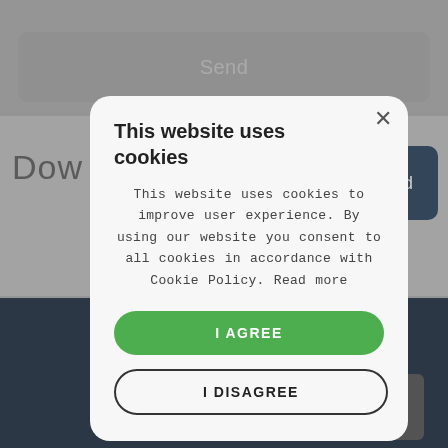[Figure (screenshot): Website background showing a grey 'Send' button at top, partial 'Dow' text with a dark blue 'oad' button, and a dark navy footer with TEAFLEX INDUSTRIAL CABLE PROTECTION logo]
This website uses cookies
This website uses cookies to improve user experience. By using our website you consent to all cookies in accordance with Cookie Policy. Read more
I AGREE
I DISAGREE